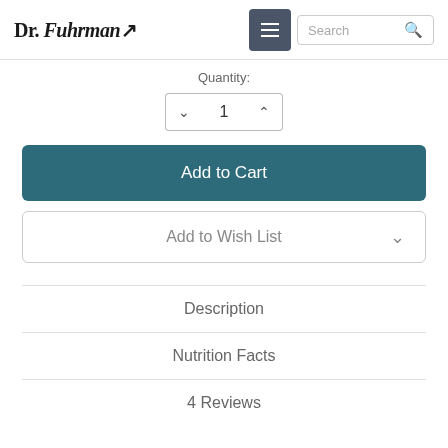Dr. Fuhrman — Search
Quantity:
1
Add to Cart
Add to Wish List
Description
Nutrition Facts
4 Reviews